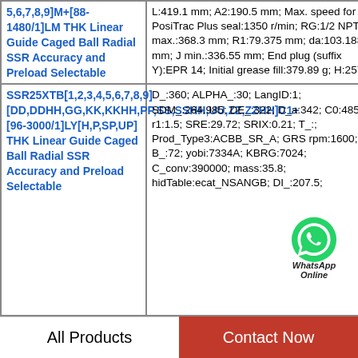| Product | Specifications |
| --- | --- |
| 5,6,7,8,9]M+[88-1480/1]LM THK Linear Guide Caged Ball Radial SSR Accuracy and Preload Selectable | L:419.1 mm; A2:190.5 mm; Max. speed for PosiTrac Plus seal:1350 r/min; RG:1/2 NPT; J max.:368.3 mm; R1:79.375 mm; da:103.188 mm; J min.:336.55 mm; End plug (suffix Y):EPR 14; Initial grease fill:379.89 g; H:257.1 |
| SSR25XTB[1,2,3,4,5,6,7,8,9][DD,DDHH,GG,KK,KKHH,PP,SS,SSHH,UU,ZZ,ZZHH]C1+[96-3000/1]LY[H,P,SP,UP] THK Linear Guide Caged Ball Radial SSR Accuracy and Preload Selectable | D_:360; ALPHA_:30; LangID:1; SDM_:264.985; DE_:322; D_a:342; C0:485; r1:1.5; SRE:29.72; SRIX:0.21; T_:; Prod_Type3:ACBB_SR_A; GRS rpm:1600; B_:72; yobi:7334A; KBRG:7024; C_conv:390000; mass:35.8; hidTable:ecat_NSANGB; DI_:207.5; |
All Products    Contact Now